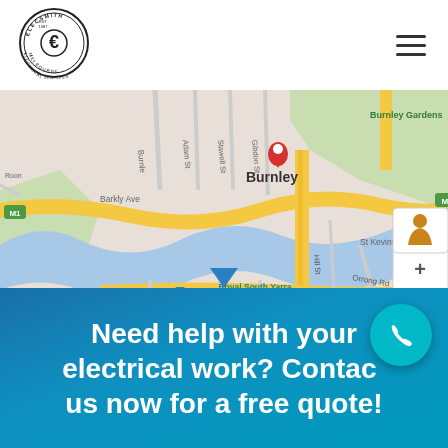[Figure (logo): Elecsmith Electrical Services circular logo with lightning bolt]
[Figure (map): Google Maps screenshot showing Burnley, Melbourne area with a red location pin on Burnley, streets including Barkly Ave, Orrong Rd, Towers Rd, and landmarks Royal South Yarra Lawn Tennis Club, St Kevins Junior School, Burnley Gardens. Map data ©2022 Google.]
Need help with your electrical work? Contact us now for a free quote!